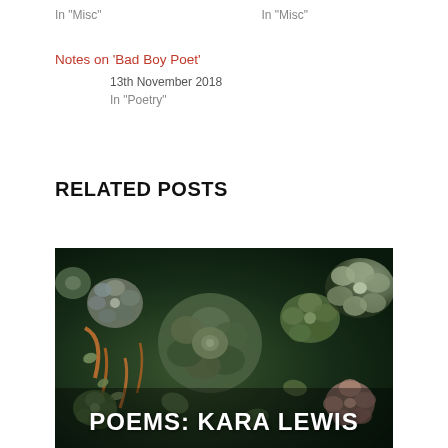In "Misc"
In "Misc"
Notes on 'Bad Boy Poet'
13th November 2018
In "Poetry"
RELATED POSTS
[Figure (photo): Close-up photograph of various succulent plants with green, grey, and purple hues, with the text 'POEMS: KARA LEWIS' overlaid in white bold uppercase letters at the bottom.]